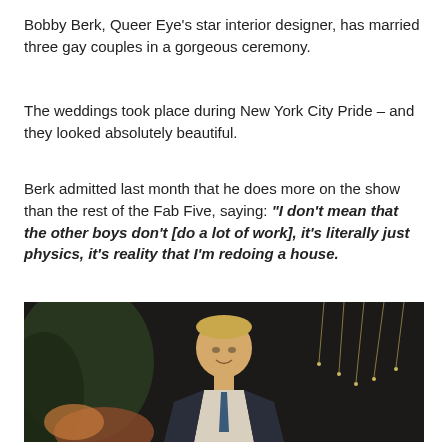Bobby Berk, Queer Eye's star interior designer, has married three gay couples in a gorgeous ceremony.
The weddings took place during New York City Pride – and they looked absolutely beautiful.
Berk admitted last month that he does more on the show than the rest of the Fab Five, saying: “I don’t mean that the other boys don’t [do a lot of work], it’s literally just physics, it’s reality that I’m redoing a house.
[Figure (photo): Bobby Berk smiling in a dark suit, standing in front of a dark background with decorative lights and flowers.]